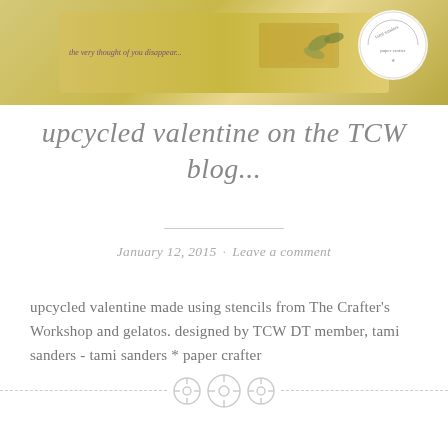[Figure (photo): Upcycled Valentine craft project made with stencils and gelatos — decorative card with floral/botanical stencil design on gold/yellow background, with a circular stamp logo in the top right corner.]
upcycled valentine on the TCW blog...
January 12, 2015 · Leave a comment
upcycled valentine made using stencils from The Crafter's Workshop and gelatos. designed by TCW DT member, tami sanders - tami sanders * paper crafter